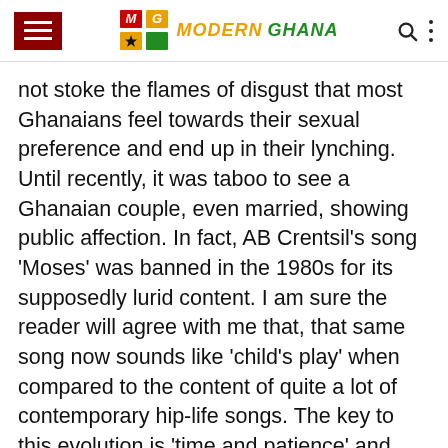MG MODERN GHANA
not stoke the flames of disgust that most Ghanaians feel towards their sexual preference and end up in their lynching. Until recently, it was taboo to see a Ghanaian couple, even married, showing public affection. In fact, AB Crentsil's song 'Moses' was banned in the 1980s for its supposedly lurid content. I am sure the reader will agree with me that, that same song now sounds like 'child's play' when compared to the content of quite a lot of contemporary hip-life songs. The key to this evolution is 'time and patience' and definitely not this alien idea of hairy-legged, bare-chested macho men in g-strings, 'coming out' on the airwaves and on the streets of Ghanaian towns and cities!